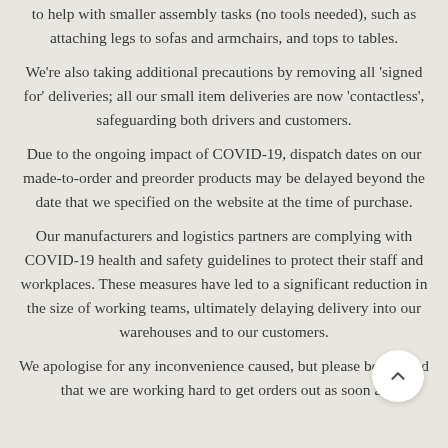to help with smaller assembly tasks (no tools needed), such as attaching legs to sofas and armchairs, and tops to tables.
We're also taking additional precautions by removing all 'signed for' deliveries; all our small item deliveries are now 'contactless', safeguarding both drivers and customers.
Due to the ongoing impact of COVID-19, dispatch dates on our made-to-order and preorder products may be delayed beyond the date that we specified on the website at the time of purchase.
Our manufacturers and logistics partners are complying with COVID-19 health and safety guidelines to protect their staff and workplaces. These measures have led to a significant reduction in the size of working teams, ultimately delaying delivery into our warehouses and to our customers.
We apologise for any inconvenience caused, but please be assured that we are working hard to get orders out as soon as